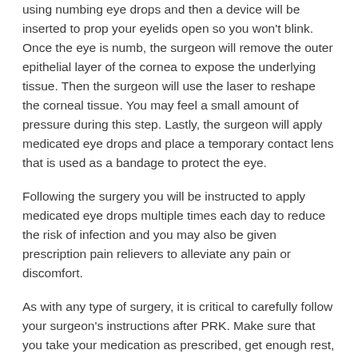using numbing eye drops and then a device will be inserted to prop your eyelids open so you won't blink. Once the eye is numb, the surgeon will remove the outer epithelial layer of the cornea to expose the underlying tissue. Then the surgeon will use the laser to reshape the corneal tissue. You may feel a small amount of pressure during this step. Lastly, the surgeon will apply medicated eye drops and place a temporary contact lens that is used as a bandage to protect the eye.
Following the surgery you will be instructed to apply medicated eye drops multiple times each day to reduce the risk of infection and you may also be given prescription pain relievers to alleviate any pain or discomfort.
As with any type of surgery, it is critical to carefully follow your surgeon's instructions after PRK. Make sure that you take your medication as prescribed, get enough rest, and call your eye doctor immediately if you experience any problems.
It is normal for it to take several days or even weeks for your vision to improve and up to 3-6 months for full recovery to clear and stable visual acuity. Usually, your doctor will require you to